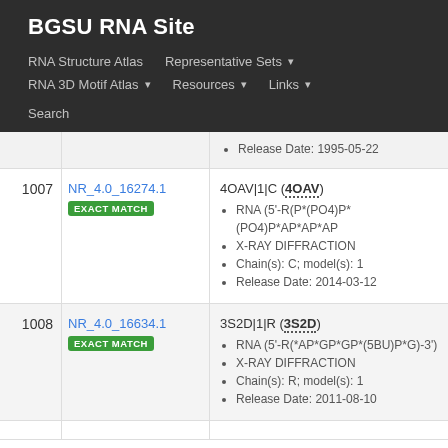BGSU RNA Site
RNA Structure Atlas | Representative Sets ▾ | RNA 3D Motif Atlas ▾ | Resources ▾ | Links ▾ | Search
| # | ID | Details |
| --- | --- | --- |
|  |  | Release Date: 1995-05-22 |
| 1007 | NR_4.0_16274.1
EXACT MATCH | 4OAV|1|C (4OAV)
• RNA (5'-R(P*(PO4)P*(PO4)P*AP*AP*AP...
• X-RAY DIFFRACTION
• Chain(s): C; model(s): 1
• Release Date: 2014-03-12 |
| 1008 | NR_4.0_16634.1
EXACT MATCH | 3S2D|1|R (3S2D)
• RNA (5'-R(*AP*GP*GP*(5BU)P*G)-3')
• X-RAY DIFFRACTION
• Chain(s): R; model(s): 1
• Release Date: 2011-08-10 |
|  |  |  |